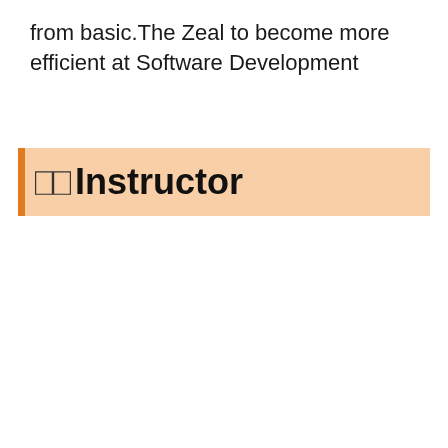from basic.The Zeal to become more efficient at Software Development
🖥️💻Instructor